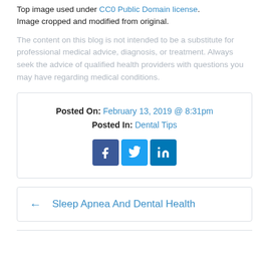Top image used under CC0 Public Domain license. Image cropped and modified from original.
The content on this blog is not intended to be a substitute for professional medical advice, diagnosis, or treatment. Always seek the advice of qualified health providers with questions you may have regarding medical conditions.
Posted On: February 13, 2019 @ 8:31pm
Posted In: Dental Tips
[Figure (other): Social media share icons: Facebook, Twitter, LinkedIn]
← Sleep Apnea And Dental Health